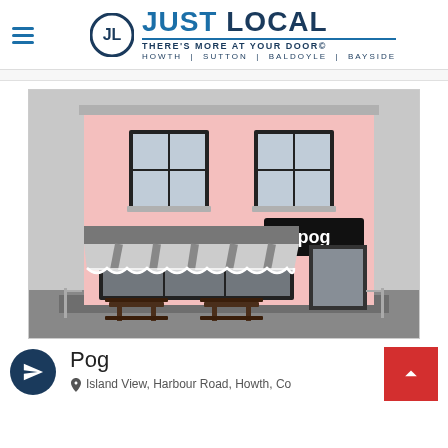JUST LOCAL — THERE'S MORE AT YOUR DOOR© — HOWTH | SUTTON | BALDOYLE | BAYSIDE
[Figure (illustration): 3D architectural rendering of a pink two-storey building with a striped awning, outdoor seating, and a sign reading 'pog' above the entrance]
Pog
Island View, Harbour Road, Howth, Co